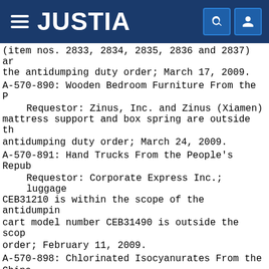JUSTIA
(item nos. 2833, 2834, 2835, 2836 and 2837) and the antidumping duty order; March 17, 2009.
A-570-890: Wooden Bedroom Furniture From the P
    Requestor: Zinus, Inc. and Zinus (Xiamen) mattress support and box spring are outside the antidumping duty order; March 24, 2009.
A-570-891: Hand Trucks From the People's Repub
    Requestor: Corporate Express Inc.; luggage CEB31210 is within the scope of the antidumping cart model number CEB31490 is outside the scope order; February 11, 2009.
A-570-898: Chlorinated Isocyanurates From the China
    Requestor: BioLab, Inc.; chlorinated isocy exported from Vietnam by Tian Hua (Vietnam) SP covered by the antidumping duty order; March 2